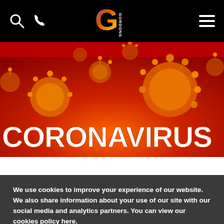Gordons law firm navigation bar with search, phone, logo, and menu icons
[Figure (photo): Coronavirus hero banner image showing orange/red microscopic virus particles with large white bold text reading CORONAVIRUS overlaid]
We use cookies to improve your experience of our website. We also share information about your use of our site with our social media and analytics partners. You can view our cookies policy here.
Accept
Settings